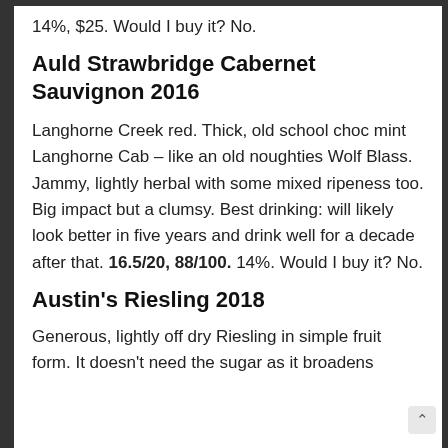14%, $25. Would I buy it? No.
Auld Strawbridge Cabernet Sauvignon 2016
Langhorne Creek red. Thick, old school choc mint Langhorne Cab – like an old noughties Wolf Blass. Jammy, lightly herbal with some mixed ripeness too. Big impact but a clumsy. Best drinking: will likely look better in five years and drink well for a decade after that. 16.5/20, 88/100. 14%. Would I buy it? No.
Austin's Riesling 2018
Generous, lightly off dry Riesling in simple fruit form. It doesn't need the sugar as it broadens